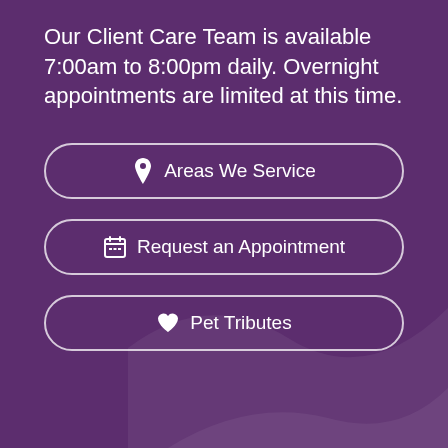Our Client Care Team is available 7:00am to 8:00pm daily. Overnight appointments are limited at this time.
Areas We Service
Request an Appointment
Pet Tributes